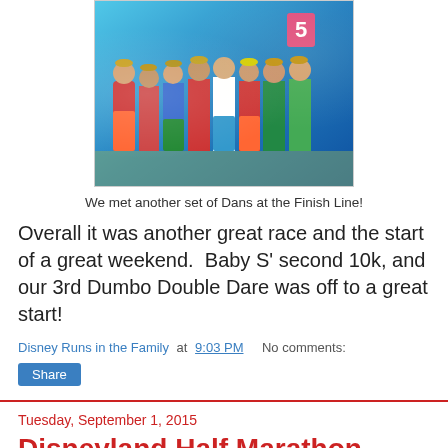[Figure (photo): Group of people dressed in colorful striped costumes and straw hats posing in front of a blue backdrop with the number 5, at a race finish line area.]
We met another set of Dans at the Finish Line!
Overall it was another great race and the start of a great weekend.  Baby S' second 10k, and our 3rd Dumbo Double Dare was off to a great start!
Disney Runs in the Family at 9:03 PM    No comments:
Share
Tuesday, September 1, 2015
Disneyland Half Marathon Weekend Preview